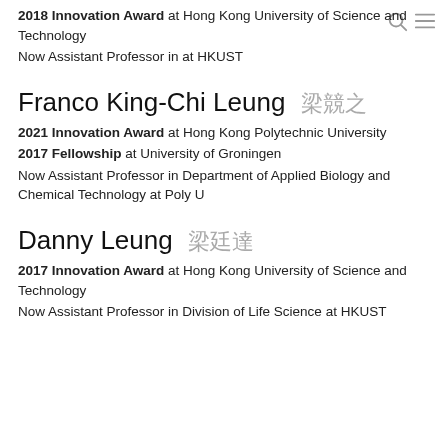2018 Innovation Award at Hong Kong University of Science and Technology
Now Assistant Professor in at HKUST
Franco King-Chi Leung
2021 Innovation Award at Hong Kong Polytechnic University
2017 Fellowship at University of Groningen
Now Assistant Professor in Department of Applied Biology and Chemical Technology at Poly U
Danny Leung
2017 Innovation Award at Hong Kong University of Science and Technology
Now Assistant Professor in Division of Life Science at HKUST